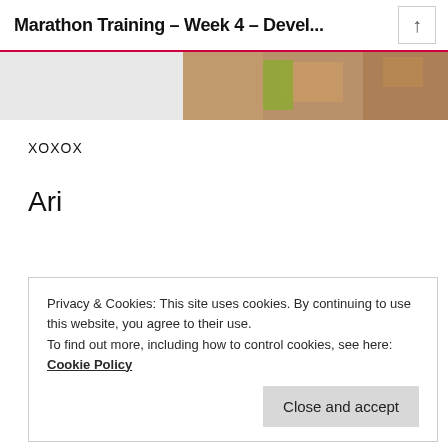Marathon Training – Week 4 – Devel...
[Figure (photo): Partial image strip showing what appears to be a person running or exercising, visible in the upper right portion of the page.]
XOXOX
Ari
Privacy & Cookies: This site uses cookies. By continuing to use this website, you agree to their use.
To find out more, including how to control cookies, see here: Cookie Policy
Close and accept